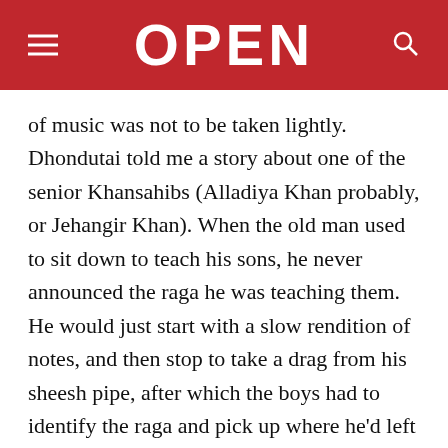OPEN
of music was not to be taken lightly. Dhondutai told me a story about one of the senior Khansahibs (Alladiya Khan probably, or Jehangir Khan). When the old man used to sit down to teach his sons, he never announced the raga he was teaching them. He would just start with a slow rendition of notes, and then stop to take a drag from his sheesh pipe, after which the boys had to identify the raga and pick up where he'd left off. If they got it wrong, they were in trouble. Just after their father started, they would fight each other to run into the kitchen on the pretext of refilling his sheesh pipe so that they could grab their mother and get her to